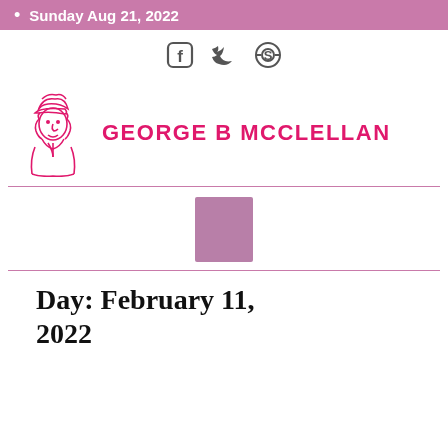Sunday Aug 21, 2022
[Figure (illustration): Social media icons: Facebook, Twitter, Skype in dark gray]
[Figure (logo): George B McClellan logo: pink colonial soldier illustration with text GEORGE B MCCLELLAN in pink handwritten-style font]
[Figure (other): Pink/mauve square block centered on page]
Day: February 11, 2022